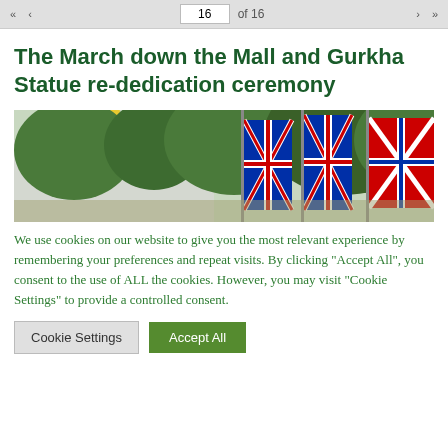« ‹   16   of 16   › »
The March down the Mall and Gurkha Statue re-dedication ceremony
[Figure (photo): Photograph showing Union Jack flags lining The Mall with Buckingham Palace and Victoria Memorial visible in the background, surrounded by green trees.]
We use cookies on our website to give you the most relevant experience by remembering your preferences and repeat visits. By clicking "Accept All", you consent to the use of ALL the cookies. However, you may visit "Cookie Settings" to provide a controlled consent.
Cookie Settings   Accept All